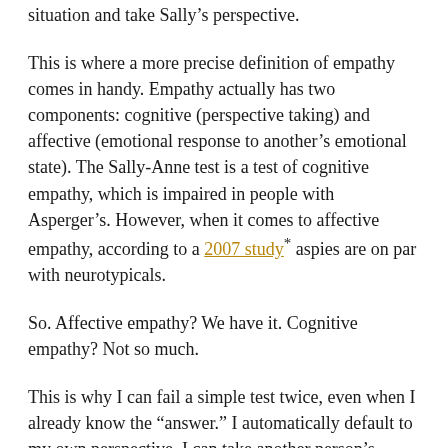situation and take Sally's perspective.
This is where a more precise definition of empathy comes in handy. Empathy actually has two components: cognitive (perspective taking) and affective (emotional response to another's emotional state). The Sally-Anne test is a test of cognitive empathy, which is impaired in people with Asperger's. However, when it comes to affective empathy, according to a 2007 study* aspies are on par with neurotypicals.
So. Affective empathy? We have it. Cognitive empathy? Not so much.
This is why I can fail a simple test twice, even when I already know the “answer.” I automatically default to my own perspective. I can take another person’s perspective, but it often requires a conscious decision on my part to do so. This seems to be something that’s silently implied in the general,